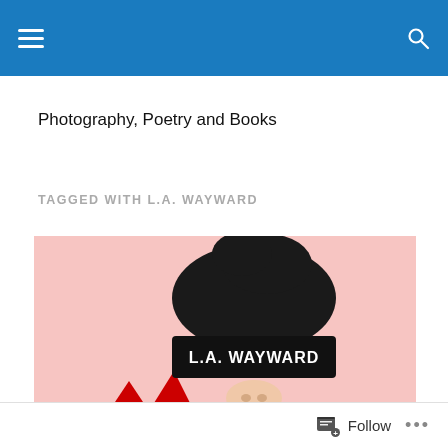Navigation bar with hamburger menu and search icon
Photography, Poetry and Books
TAGGED WITH L.A. WAYWARD
[Figure (photo): Person wearing a black beanie hat with white text reading 'L.A. WAYWARD', photographed against a pink background. Partial face visible showing nose and mouth area. Red accents visible at bottom corners.]
Follow   ...